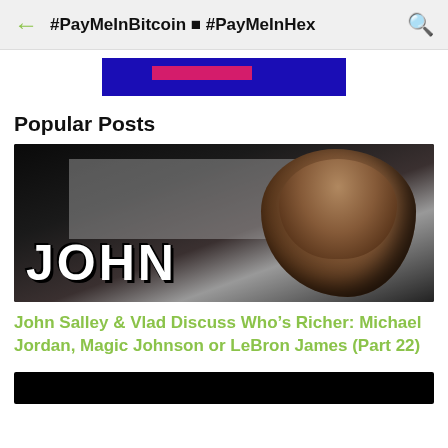#PayMeInBitcoin ● #PayMeInHex
[Figure (other): Blue banner/advertisement strip with pink/red overlay element]
Popular Posts
[Figure (photo): Thumbnail image of John Salley, a tall bald Black man in a dark setting, with the text JOHN overlaid in large white bold letters at the bottom left]
John Salley & Vlad Discuss Who's Richer: Michael Jordan, Magic Johnson or LeBron James (Part 22)
[Figure (photo): Partial thumbnail of a second video post, mostly black]